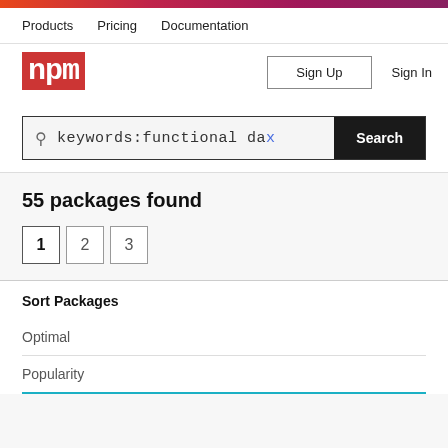npm website header navigation
Products   Pricing   Documentation
[Figure (logo): npm logo in red/dark background block]
Sign Up   Sign In
keywords:functional dax  Search
55 packages found
1  2  3
Sort Packages
Optimal
Popularity